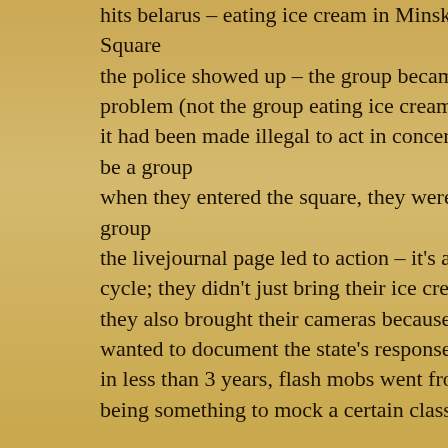hits belarus – eating ice cream in Minsk Square the police showed up – the group became a problem (not the group eating ice cream) it had been made illegal to act in concert – to be a group when they entered the square, they weren't a group the livejournal page led to action – it's a full cycle; they didn't just bring their ice cream – they also brought their cameras because they wanted to document the state's response in less than 3 years, flash mobs went from being something to mock a certain class to